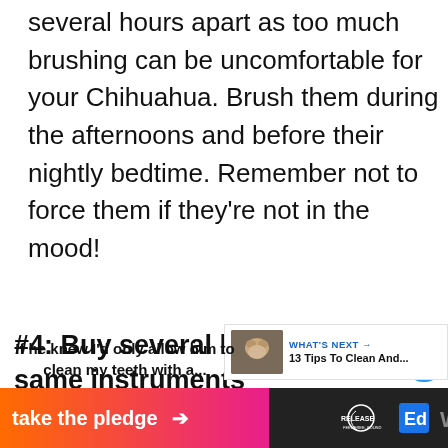several hours apart as too much brushing can be uncomfortable for your Chihuahua. Brush them during the afternoons and before their nightly bedtime. Remember not to force them if they're not in the mood!
#4: Buy several kinds of the same instruments
[Figure (screenshot): Image of a dog with caption text below: If he knew I'd only allow him to clean my teeth with a...]
[Figure (infographic): Bottom ad bar: take the pledge → RELEASE logo and other logos on dark background]